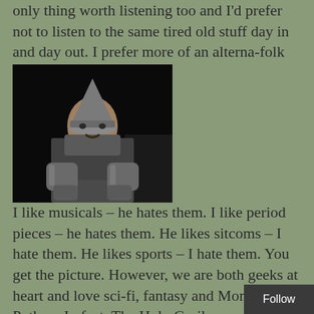only thing worth listening too and I'd prefer not to listen to the same tired old stuff day in and day out. I prefer more of an alterna-folk kinda sound.
[Figure (photo): A person dressed in medieval knight armor with a conical helmet, chainmail, and gauntlets, seated against a dark background.]
I like musicals – he hates them. I like period pieces – he hates them. He likes sitcoms – I hate them. He likes sports – I hate them. You get the picture. However, we are both geeks at heart and love sci-fi, fantasy and Monty Python. In fact, The Holy Grail